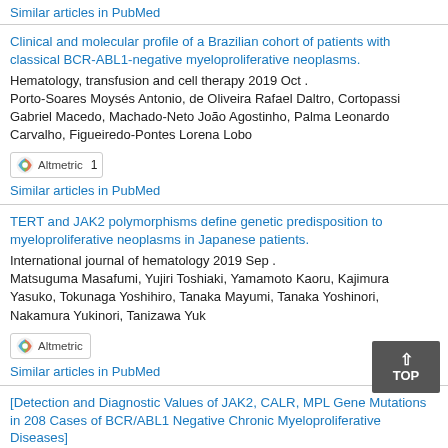Similar articles in PubMed
Clinical and molecular profile of a Brazilian cohort of patients with classical BCR-ABL1-negative myeloproliferative neoplasms.
Hematology, transfusion and cell therapy 2019 Oct . Porto-Soares Moysés Antonio, de Oliveira Rafael Daltro, Cortopassi Gabriel Macedo, Machado-Neto João Agostinho, Palma Leonardo Carvalho, Figueiredo-Pontes Lorena Lobo
Similar articles in PubMed
TERT and JAK2 polymorphisms define genetic predisposition to myeloproliferative neoplasms in Japanese patients.
International journal of hematology 2019 Sep . Matsuguma Masafumi, Yujiri Toshiaki, Yamamoto Kaoru, Kajimura Yasuko, Tokunaga Yoshihiro, Tanaka Mayumi, Tanaka Yoshinori, Nakamura Yukinori, Tanizawa Yuk
Similar articles in PubMed
[Detection and Diagnostic Values of JAK2, CALR, MPL Gene Mutations in 208 Cases of BCR/ABL1 Negative Chronic Myeloproliferative Diseases]